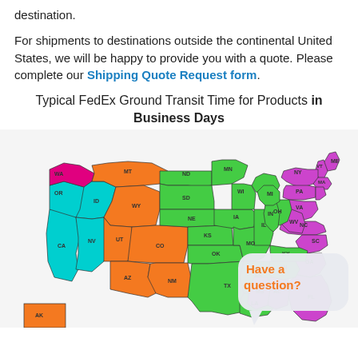destination.
For shipments to destinations outside the continental United States, we will be happy to provide you with a quote. Please complete our Shipping Quote Request form.
Typical FedEx Ground Transit Time for Products in Business Days
[Figure (map): Color-coded map of the continental United States showing typical FedEx Ground transit times by region. States are colored in magenta/pink (1 day), cyan/light blue (2 days), orange (3 days), green (4 days), and purple/magenta (5 days). A speech bubble overlay reads 'Have a question?' in orange text.]